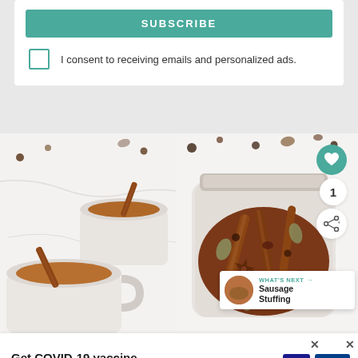[Figure (screenshot): Subscribe button (teal/green) with text SUBSCRIBE]
I consent to receiving emails and personalized ads.
[Figure (photo): Two mugs of brown spiced tea/chai with cinnamon sticks on a white marble surface]
[Figure (photo): Glass jar filled with mixed whole spices including cinnamon sticks, star anise, cardamom pods, cloves on white background, with heart/share/number overlay icons and What's Next panel showing Sausage Stuffing]
WHAT'S NEXT → Sausage Stuffing
Get COVID-19 vaccine answers here.